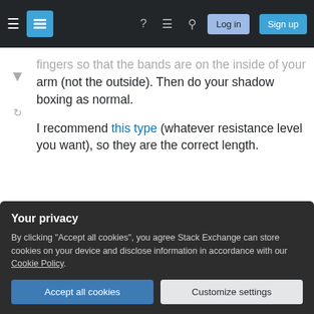Stack Exchange navigation bar with Log in and Sign up buttons
fingers so that the bands are on the inside of your arm (not the outside). Then do your shadow boxing as normal.
I recommend this type (whatever resistance level you want), so they are the correct length.
Share
Improve this answer
Follow
edited Jan 3, 2017 at 11:10
Mike P
1,557 ● 10 ● 20
answered Jan 3, 2017 at 3:31
Your privacy
By clicking "Accept all cookies", you agree Stack Exchange can store cookies on your device and disclose information in accordance with our Cookie Policy.
Accept all cookies  Customize settings